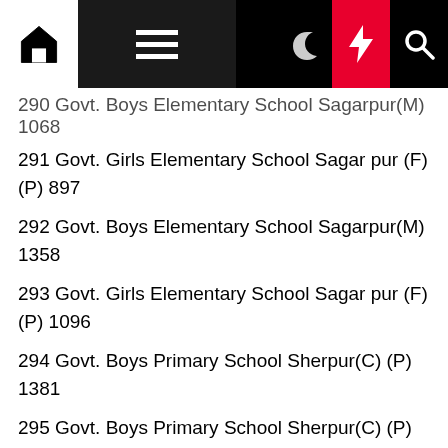Navigation bar with home, menu, dark mode, lightning, search icons
290 Govt. Boys Elementary School Sagarpur(M) 1068
291 Govt. Girls Elementary School Sagar pur (F) (P) 897
292 Govt. Boys Elementary School Sagarpur(M) 1358
293 Govt. Girls Elementary School Sagar pur (F) (P) 1096
294 Govt. Boys Primary School Sherpur(C) (P) 1381
295 Govt. Boys Primary School Sherpur(C) (P) 823
296 Govt. Girls Model Primary School Abdullahpur (C) (P) 964
297 Govt. Girls Elementary School Chak Jani.(C) (P) 1264
298 Govt. Girls Elementary School Chak Danyal (C) 2080
299 Office of Union Council Jalalpur Sharif(C) (P)